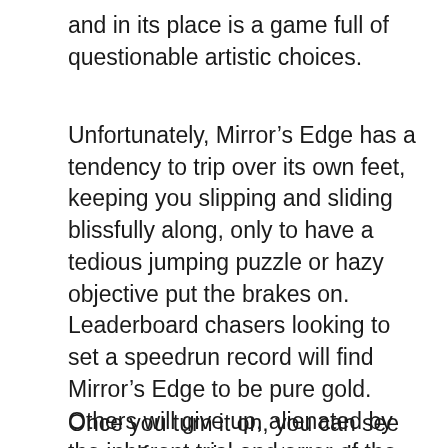and in its place is a game full of questionable artistic choices.
Unfortunately, Mirror’s Edge has a tendency to trip over its own feet, keeping you slipping and sliding blissfully along, only to have a tedious jumping puzzle or hazy objective put the brakes on. Leaderboard chasers looking to set a speedrun record will find Mirror’s Edge to be pure gold. Others will give up, alienated by the inherent trial and error of the game’s basic design. At the very least, there’s nothing quite like it, and it deserves a cautious look by anyone who appreciates games that hew their own path.
Once you turn it on, you can see yourself, your instructor and your classmates in a